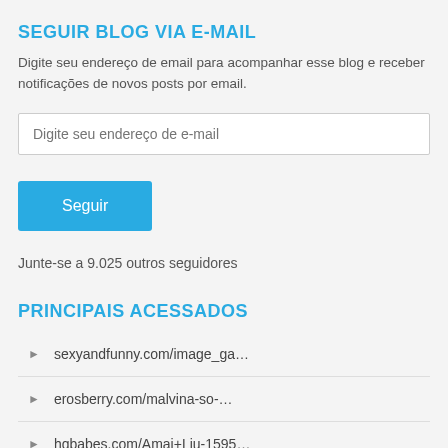SEGUIR BLOG VIA E-MAIL
Digite seu endereço de email para acompanhar esse blog e receber notificações de novos posts por email.
Junte-se a 9.025 outros seguidores
PRINCIPAIS ACESSADOS
sexyandfunny.com/image_ga…
erosberry.com/malvina-so-…
hqbabes.com/Amai+Liu-1595…